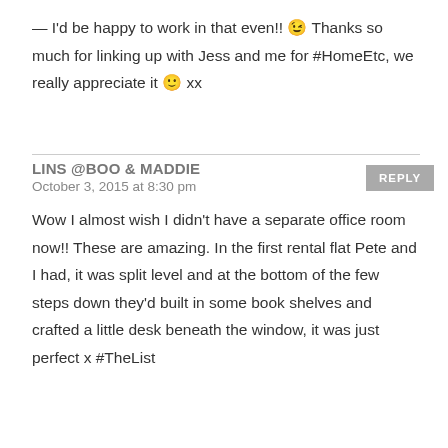— I'd be happy to work in that even!! 😉 Thanks so much for linking up with Jess and me for #HomeEtc, we really appreciate it 🙂 xx
LINS @BOO & MADDIE
October 3, 2015 at 8:30 pm
Wow I almost wish I didn't have a separate office room now!! These are amazing. In the first rental flat Pete and I had, it was split level and at the bottom of the few steps down they'd built in some book shelves and crafted a little desk beneath the window, it was just perfect x #TheList